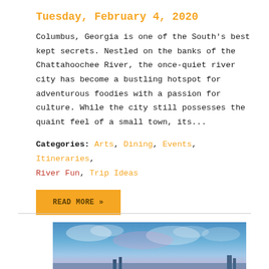Tuesday, February 4, 2020
Columbus, Georgia is one of the South's best kept secrets. Nestled on the banks of the Chattahoochee River, the once-quiet river city has become a bustling hotspot for adventurous foodies with a passion for culture. While the city still possesses the quaint feel of a small town, its...
Categories: Arts, Dining, Events, Itineraries, River Fun, Trip Ideas
READ MORE »
[Figure (photo): Outdoor twilight/dusk cityscape or riverside skyline photo with blue and purple sky with clouds]